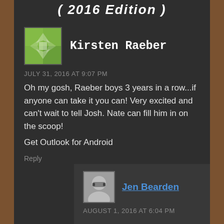( 2016 Edition )
Kirsten Raeber
JULY 31, 2016 AT 9:07 PM
Oh my gosh, Raeber boys 3 years in a row...if anyone can take it you can! Very excited and can't wait to tell Josh. Nate can fill him in on the scoop!
Get Outlook for Android
Reply
Jen Bearden
AUGUST 1, 2016 AT 6:04 PM